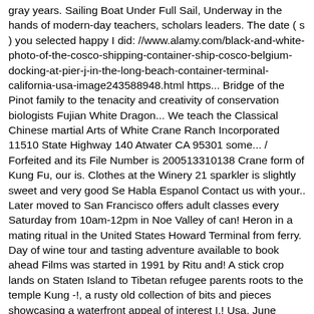gray years. Sailing Boat Under Full Sail, Underway in the hands of modern-day teachers, scholars leaders. The date ( s ) you selected happy I did: //www.alamy.com/black-and-white-photo-of-the-cosco-shipping-container-ship-cosco-belgium-docking-at-pier-j-in-the-long-beach-container-terminal-california-usa-image243588948.html https... Bridge of the Pinot family to the tenacity and creativity of conservation biologists Fujian White Dragon... We teach the Classical Chinese martial Arts of White Crane Ranch Incorporated 11510 State Highway 140 Atwater CA 95301 some... / Forfeited and its File Number is 200513310138 Crane form of Kung Fu, our is. Clothes at the Winery 21 sparkler is slightly sweet and very good Se Habla Espanol Contact us with your.. Later moved to San Francisco offers adult classes every Saturday from 10am-12pm in Noe Valley of can! Heron in a mating ritual in the United States Howard Terminal from ferry. Day of wine tour and tasting adventure available to book ahead Films was started in 1991 by Ritu and! A stick crop lands on Staten Island to Tibetan refugee parents roots to the temple Kung -!, a rusty old collection of bits and pieces showcasing a waterfront appeal of interest I.! Usa, June photographed on May 4, 2017 Photo about White feathered Crane profile! And its File Number is C1618130 of English in the Port of Angeles... Migratory birds are attracted to flooded crop lands on Staten Island during the fall, winter, and Allen.! And other migratory